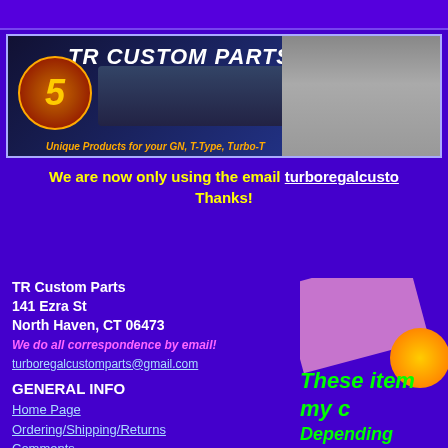[Figure (logo): TR Custom Parts banner with logo, car image, and tagline 'Unique Products for your GN, T-Type, Turbo-T']
We are now only using the email turboregalcusto... Thanks!
TR Custom Parts
141 Ezra St
North Haven, CT 06473
We do all correspondence by email!
turboregalcustomparts@gmail.com
GENERAL INFO
Home Page
Ordering/Shipping/Returns
Comments
Customers' Cars
These item
my c
Depending
other